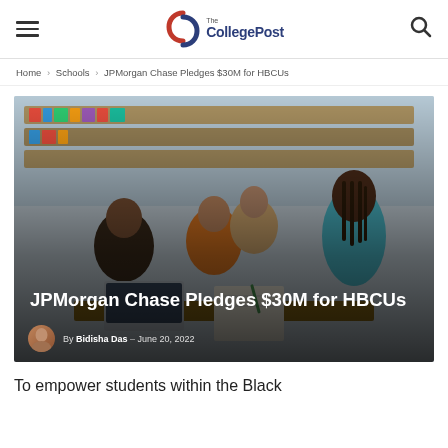The College Post — navigation bar with hamburger menu and search icon
Home › Schools › JPMorgan Chase Pledges $30M for HBCUs
[Figure (photo): Students studying together in a library or classroom setting; a young woman in the foreground writing at a desk, with other students visible behind her.]
JPMorgan Chase Pledges $30M for HBCUs
By Bidisha Das – June 20, 2022
To empower students within the Black